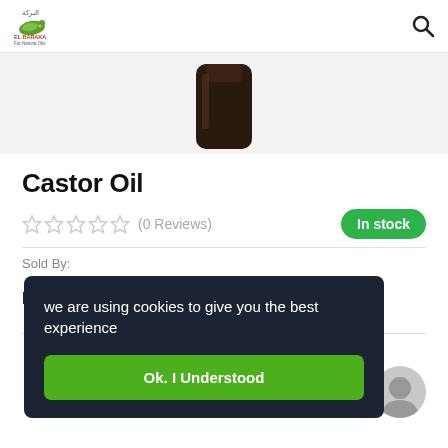El Baraka For Natural Oils — logo and search icon
[Figure (photo): Partial view of a dark bottle of castor oil product against a light background]
Castor Oil
★★★★★ (0 Reviews) — In stock
Sold By:
Inhouse product
[Figure (logo): El Baraka For Natural Oils logo — green leaf and bird mark with text]
we are using cookies to give you the best experience
Ok. I Understood